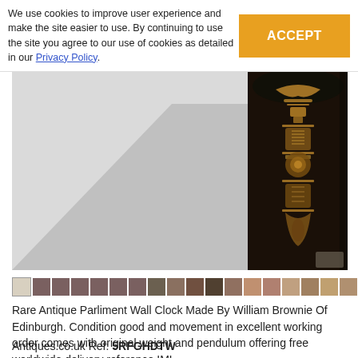We use cookies to improve user experience and make the site easier to use. By continuing to use the site you agree to our use of cookies as detailed in our Privacy Policy.
[Figure (photo): Close-up photograph of an antique parliment wall clock body showing dark wood case with ornate gold inlay decorative patterns, against a white/light grey background]
[Figure (photo): Strip of small thumbnail images showing various views of the antique parliment wall clock]
Rare Antique Parliment Wall Clock Made By William Brownie Of Edinburgh. Condition good and movement in excellent working order comes with original weight and pendulum offering free worldwide delivery reference IML
Antiques.co.uk Ref: 5RFGHDTW